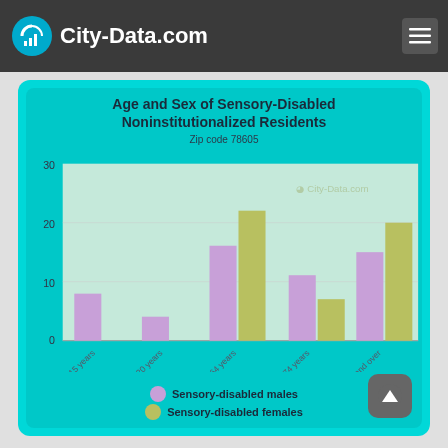City-Data.com
Engineering Services (10-15: 1, 1-4: 1)
Finance and Insurance: Commercial Banking (10-15: 1)
[Figure (grouped-bar-chart): Age and Sex of Sensory-Disabled Noninstitutionalized Residents]
Sensory-disabled males
Sensory-disabled females